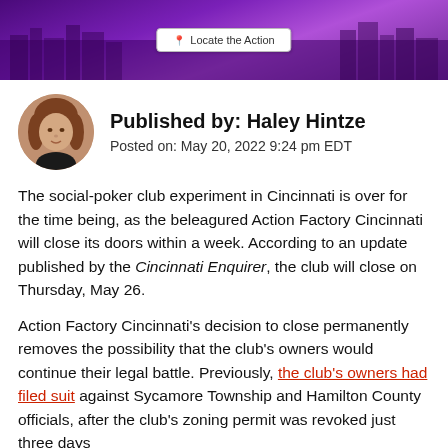[Figure (photo): Purple city skyline banner with a 'Locate the Action' button in the center]
Published by: Haley Hintze
Posted on: May 20, 2022 9:24 pm EDT
The social-poker club experiment in Cincinnati is over for the time being, as the beleagured Action Factory Cincinnati will close its doors within a week. According to an update published by the Cincinnati Enquirer, the club will close on Thursday, May 26.
Action Factory Cincinnati’s decision to close permanently removes the possibility that the club’s owners would continue their legal battle. Previously, the club's owners had filed suit against Sycamore Township and Hamilton County officials, after the club’s zoning permit was revoked just three days